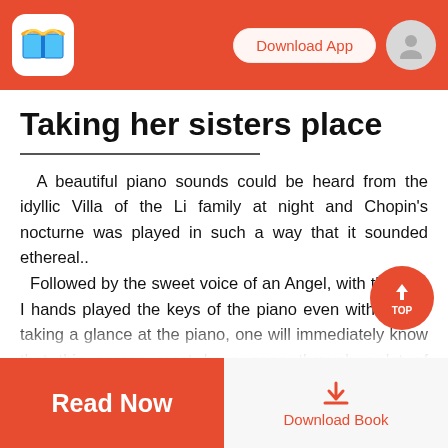Download App
Taking her sisters place
A beautiful piano sounds could be heard from the idyllic Villa of the Li family at night and Chopin's nocturne was played in such a way that it sounded ethereal.. Followed by the sweet voice of an Angel, with the way I hands played the keys of the piano even without her taking a glance at the piano, one will immediately know that this person most have gone through a lot of practice to achieve this.... Even the maids are enchanted by the voice of the... they were all carried away by her sweet voice, but the
Read Now | Download Book